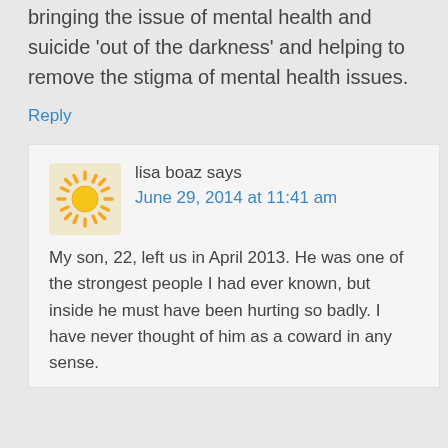bringing the issue of mental health and suicide 'out of the darkness' and helping to remove the stigma of mental health issues.
Reply
lisa boaz says
June 29, 2014 at 11:41 am
My son, 22, left us in April 2013. He was one of the strongest people I had ever known, but inside he must have been hurting so badly. I have never thought of him as a coward in any sense.